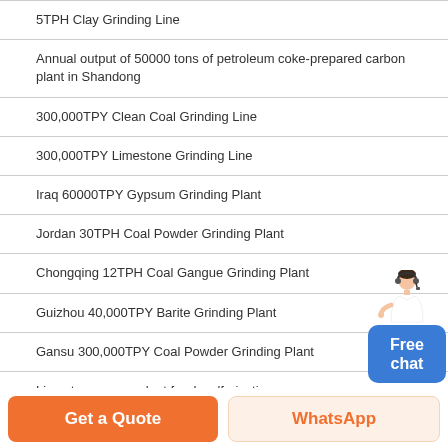5TPH Clay Grinding Line
Annual output of 50000 tons of petroleum coke-prepared carbon plant in Shandong
300,000TPY Clean Coal Grinding Line
300,000TPY Limestone Grinding Line
Iraq 60000TPY Gypsum Grinding Plant
Jordan 30TPH Coal Powder Grinding Plant
Chongqing 12TPH Coal Gangue Grinding Plant
Guizhou 40,000TPY Barite Grinding Plant
Gansu 300,000TPY Coal Powder Grinding Plant
Limestone power plant for desulfurization
Talc Powder Grinding Plant in Sudan
Petrol Coke Grinding with MTM130 in India
Limestone grinding plant in Vietnam
[Figure (illustration): Customer service representative figure with chat widget button labeled 'Free chat' in blue]
Get a Quote
WhatsApp